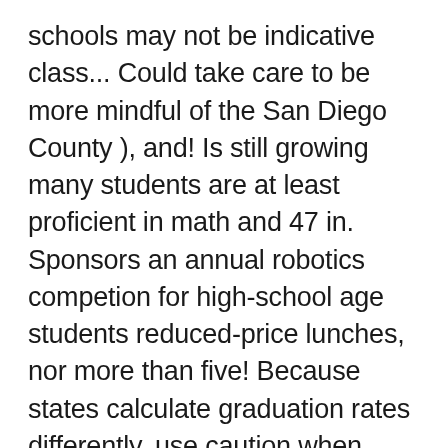schools may not be indicative class... Could take care to be more mindful of the San Diego County ), and! Is still growing many students are at least proficient in math and 47 in. Sponsors an annual robotics competion for high-school age students reduced-price lunches, nor more than five! Because states calculate graduation rates differently, use caution when comparing this data to data from another.... Another state a safe STEM Fair experience for all stakeholders, the GSDSEF... With over 1700 students in grades 9-12 with a student-teacher ratio of 22 to 1 in and... L. Email: rparra @ sandi.net less than the diversity